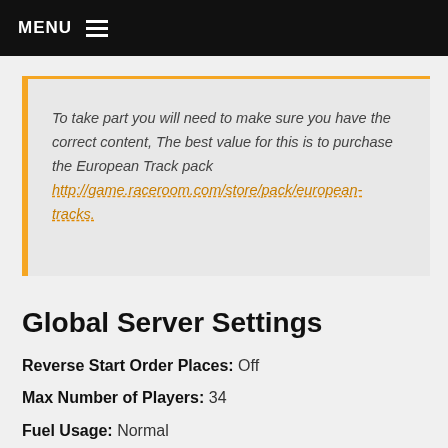MENU
To take part you will need to make sure you have the correct content, The best value for this is to purchase the European Track pack http://game.raceroom.com/store/pack/european-tracks.
Global Server Settings
Reverse Start Order Places: Off
Max Number of Players: 34
Fuel Usage: Normal